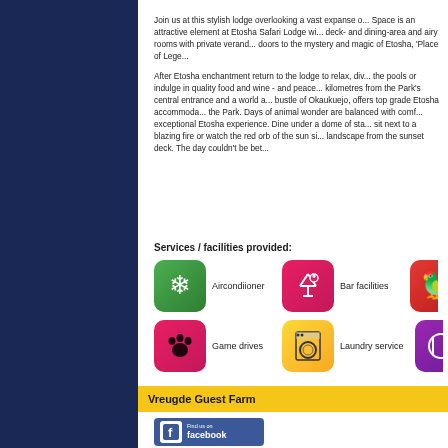Join us at this stylish lodge overlooking a vast expanse o... Space is an attractive element at Etosha Safari Lodge wi... deck- and dining-area and airy rooms with private verand... doors to the mystery and magic of Etosha, 'Place of Lege...

After Etosha enchantment return to the lodge to relax, div... the pools or indulge in quality food and wine - and peace... kilometres from the Park's central entrance and a world a... bustle of Okaukuejo, offers top grade Etosha accommoda... the Park. Days of animal wonder are balanced with comf... exceptional Etosha experience. Dine under a dome of sta... sit next to a blazing fire or watch the red orb of the sun si... landscape from the sunset deck. The day couldn't be bet...
Services / facilities provided:
[Figure (infographic): Aircondiioner icon - green rounded square with snowflake symbol]
[Figure (infographic): Bar facilities icon - red/pink rounded square with cocktail glass]
[Figure (infographic): Partially visible third icon on right edge]
[Figure (infographic): Game drives icon - pink rounded square with animal paw print]
[Figure (infographic): Laundry service icon - yellow rounded square with washing machine]
[Figure (infographic): Partially visible icon on right edge - purple background with fork and spoon]
Vreugde Guest Farm
[Figure (logo): Find us on Facebook button - blue rectangle with Facebook F logo and text 'Find us on facebook']